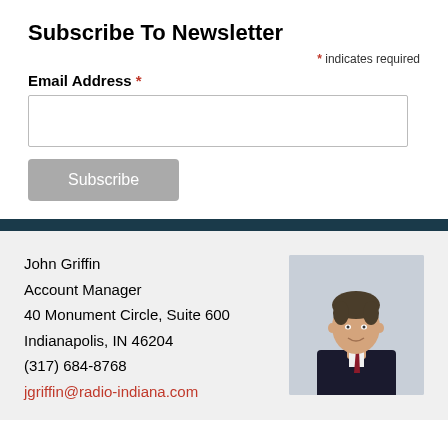Subscribe To Newsletter
* indicates required
Email Address *
Subscribe
John Griffin
Account Manager
40 Monument Circle, Suite 600
Indianapolis, IN 46204
(317) 684-8768
jgriffin@radio-indiana.com
[Figure (photo): Headshot of John Griffin, a middle-aged man in a dark suit with a striped tie, smiling, against a light background.]